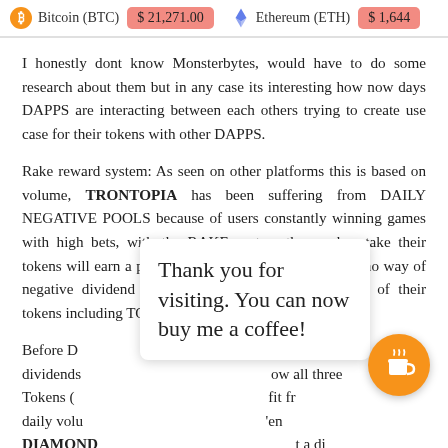Bitcoin (BTC)  $21,271.00    Ethereum (ETH)  $1,644
I honestly dont know Monsterbytes, would have to do some research about them but in any case its interesting how now days DAPPS are interacting between each others trying to create use case for their tokens with other DAPPS.
Rake reward system: As seen on other platforms this is based on volume, TRONTOPIA has been suffering from DAILY NEGATIVE POOLS because of users constantly winning games with high bets, with the RAKE system those who stake their tokens will earn a portion of each bet there for there is no way of negative dividend pool, users can now unfreeze any of their tokens including TOPIA TOKENS.
Before D[obscured] earn daily dividends [obscured] ow all three Tokens ([obscured] fit fr daily volu[obscured] en DIAMOND[obscured] t a di portfolio of dividends based on BTT, USDT & other tron
Thank you for visiting. You can now buy me a coffee!